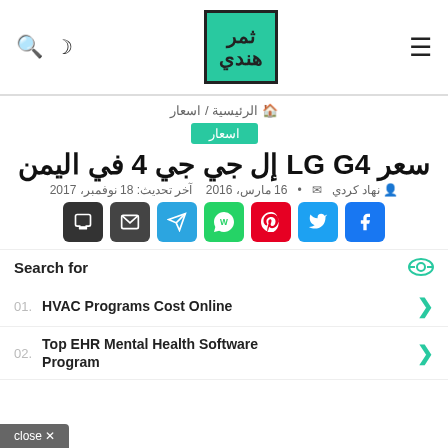Logo header with search, dark mode, and hamburger menu icons
الرئيسية / اسعار 🏠
اسعار
سعر LG G4 إل جي جي 4 في اليمن
نهاد كردي  •  16 مارس، 2016   آخر تحديث: 18 نوفمبر، 2017
[Figure (other): Social share buttons: print, email, Telegram, WhatsApp, Pinterest, Twitter, Facebook]
Search for
01. HVAC Programs Cost Online
02. Top EHR Mental Health Software Program